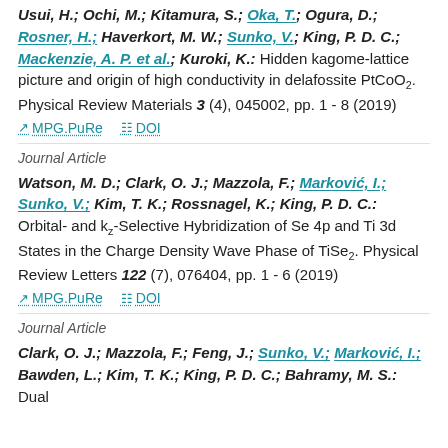Usui, H.; Ochi, M.; Kitamura, S.; Oka, T.; Ogura, D.; Rosner, H.; Haverkort, M. W.; Sunko, V.; King, P. D. C.; Mackenzie, A. P. et al.; Kuroki, K.: Hidden kagome-lattice picture and origin of high conductivity in delafossite PtCoO2. Physical Review Materials 3 (4), 045002, pp. 1 - 8 (2019)
MPG.PuRe   DOI
Journal Article
Watson, M. D.; Clark, O. J.; Mazzola, F.; Marković, I.; Sunko, V.; Kim, T. K.; Rossnagel, K.; King, P. D. C.: Orbital- and kz-Selective Hybridization of Se 4p and Ti 3d States in the Charge Density Wave Phase of TiSe2. Physical Review Letters 122 (7), 076404, pp. 1 - 6 (2019)
MPG.PuRe   DOI
Journal Article
Clark, O. J.; Mazzola, F.; Feng, J.; Sunko, V.; Marković, I.; Bawden, L.; Kim, T. K.; King, P. D. C.; Bahramy, M. S.: Dual